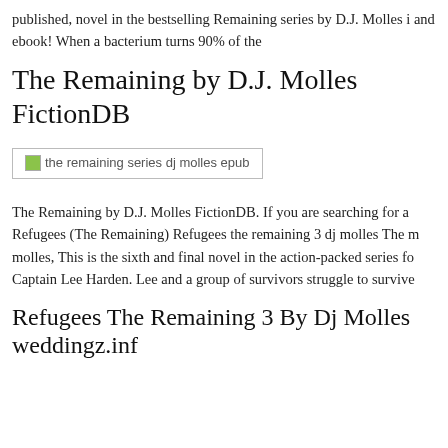published, novel in the bestselling Remaining series by D.J. Molles i and ebook! When a bacterium turns 90% of the
The Remaining by D.J. Molles FictionDB
[Figure (photo): Broken image placeholder with alt text: the remaining series dj molles epub]
The Remaining by D.J. Molles FictionDB. If you are searching for a Refugees (The Remaining) Refugees the remaining 3 dj molles The molles, This is the sixth and final novel in the action-packed series fo Captain Lee Harden. Lee and a group of survivors struggle to survive
Refugees The Remaining 3 By Dj Molles weddingz.inf